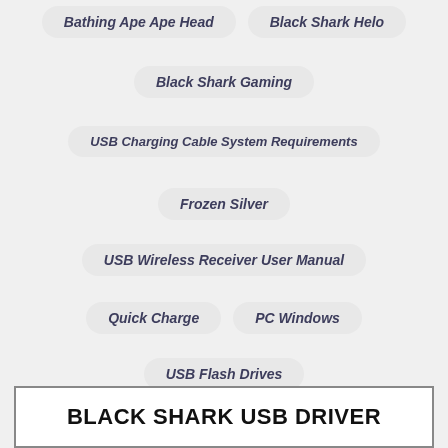Bathing Ape Ape Head
Black Shark Helo
Black Shark Gaming
USB Charging Cable System Requirements
Frozen Silver
USB Wireless Receiver User Manual
Quick Charge
PC Windows
USB Flash Drives
BLACK SHARK USB DRIVER